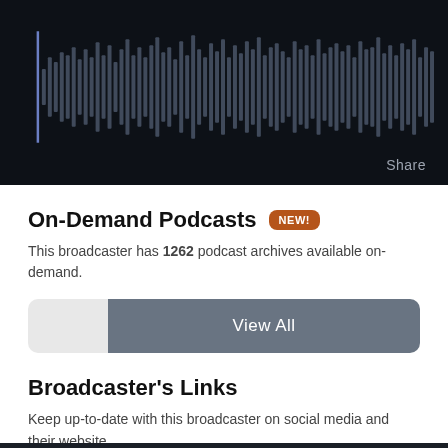[Figure (other): Audio waveform visualization on dark background with a blue playhead marker on the left side and varying height grey bars extending to the right]
Share
On-Demand Podcasts NEW!
This broadcaster has 1262 podcast archives available on-demand.
View All
Broadcaster's Links
Keep up-to-date with this broadcaster on social media and their website.